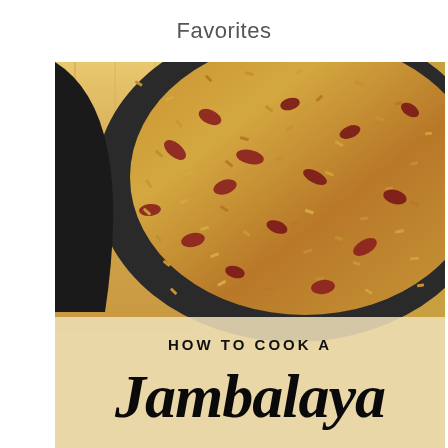Favorites
[Figure (photo): Close-up overhead photo of jambalaya rice dish with sausage pieces in a cast iron skillet on a wooden cutting board. Below the photo is a text overlay reading 'HOW TO COOK A Jambalaya']